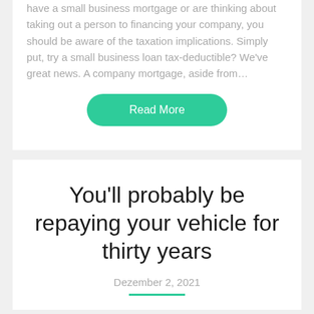have a small business mortgage or are thinking about taking out a person to financing your company, you should be aware of the taxation implications. Simply put, try a small business loan tax-deductible? We've great news. A company mortgage, aside from…
Read More
You'll probably be repaying your vehicle for thirty years
Dezember 2, 2021